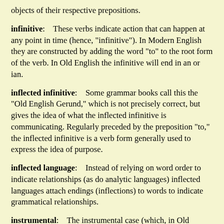objects of their respective prepositions.
infinitive:    These verbs indicate action that can happen at any point in time (hence, "infinitive"). In Modern English they are constructed by adding the word "to" to the root form of the verb. In Old English the infinitive will end in an or ian.
inflected infinitive:    Some grammar books call this the "Old English Gerund," which is not precisely correct, but gives the idea of what the inflected infinitive is communicating. Regularly preceded by the preposition "to," the inflected infinitive is a verb form generally used to express the idea of purpose.
inflected language:    Instead of relying on word order to indicate relationships (as do analytic languages) inflected languages attach endings (inflections) to words to indicate grammatical relationships.
instrumental:    The instrumental case (which, in Old English, often has the same inflections as the dative case), is used to indicate things that are being instrumentally